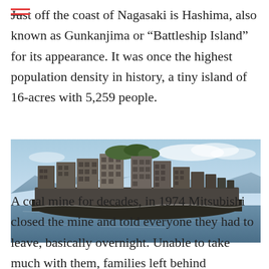Just off the coast of Nagasaki is Hashima, also known as Gunkanjima or “Battleship Island” for its appearance. It was once the highest population density in history, a tiny island of 16-acres with 5,259 people.
[Figure (photo): Aerial/sea-level photo of Hashima Island (Gunkanjima / Battleship Island) showing dense abandoned concrete buildings on a small island surrounded by blue-grey ocean water, with mountains visible in the background under a partly cloudy sky.]
A coal mine for decades, in 1974 Mitsubishi closed the mine and told everyone they had to leave, basically overnight. Unable to take much with them, families left behind belongings,